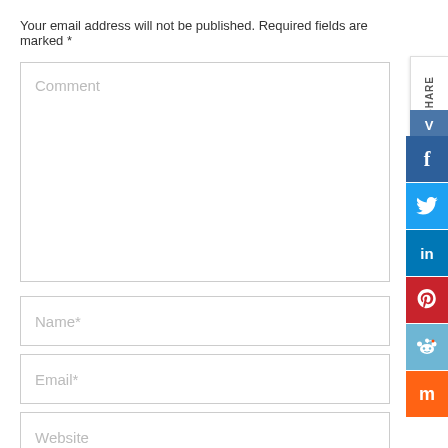Your email address will not be published. Required fields are marked *
[Figure (screenshot): Comment textarea input field with placeholder text 'Comment']
[Figure (screenshot): Name input field with placeholder text 'Name*']
[Figure (screenshot): Email input field with placeholder text 'Email*']
[Figure (screenshot): Website input field with placeholder text 'Website']
Save my name, email, and website in this browser for the next tim
[Figure (screenshot): Social share sidebar with SHARE label, VK button, Facebook, Twitter, LinkedIn, Pinterest, Reddit, and Mix (Stumbleupon) icons]